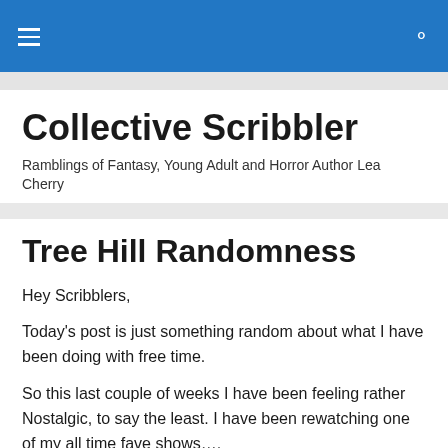Collective Scribbler — navigation header bar
Collective Scribbler
Ramblings of Fantasy, Young Adult and Horror Author Lea Cherry
Tree Hill Randomness
Hey Scribblers,
Today's post is just something random about what I have been doing with free time.
So this last couple of weeks I have been feeling rather Nostalgic, to say the least. I have been rewatching one of my all time fave shows….